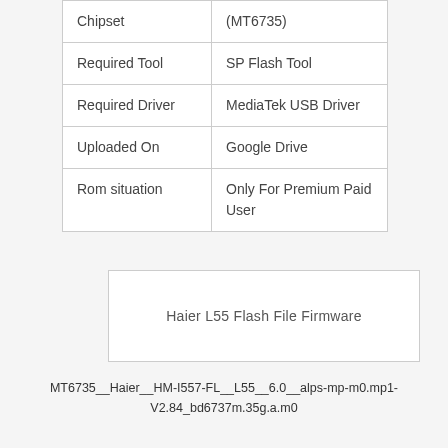| Chipset | (MT6735) |
| Required Tool | SP Flash Tool |
| Required Driver | MediaTek USB Driver |
| Uploaded On | Google Drive |
| Rom situation | Only For Premium Paid User |
[Figure (other): Box with label: Haier L55 Flash File Firmware]
MT6735__Haier__HM-I557-FL__L55__6.0__alps-mp-m0.mp1-V2.84_bd6737m.35g.a.m0